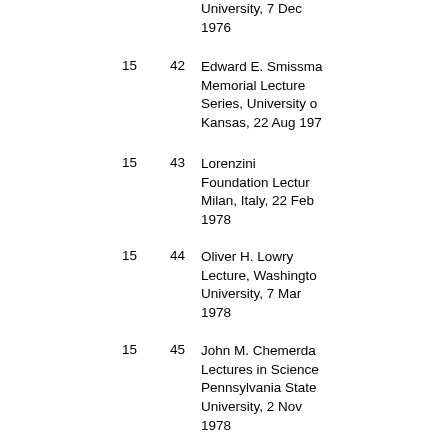University, 7 Dec 1976
15  42  Edward E. Smissman Memorial Lecture Series, University of Kansas, 22 Aug 1977
15  43  Lorenzini Foundation Lecture, Milan, Italy, 22 Feb 1978
15  44  Oliver H. Lowry Lecture, Washington University, 7 Mar 1978
15  45  John M. Chemerda Lectures in Science, Pennsylvania State University, 2 Nov 1978
15  46  Claude Bernard Colloquium, Paris, 7 Dec 1978
15  47  Joys of Research Colloquium in...